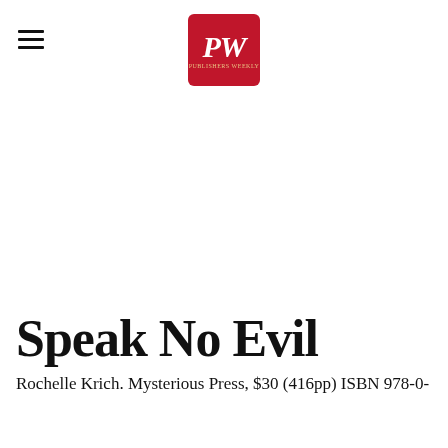[Figure (logo): Publishers Weekly logo — red rounded square with white PW initials in italic serif font]
Speak No Evil
Rochelle Krich. Mysterious Press, $30 (416pp) ISBN 978-0-